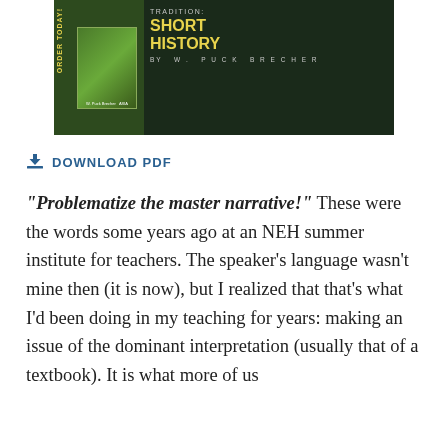[Figure (illustration): Advertisement banner for 'Tradition: A Short History' by W. Puck Brecher, published by Association for Asian Studies. Dark green background with book cover image on left and yellow title text on right. Bottom bar shows AAS Online Bookstore URL: asianstudies.org/bookstore/]
⬇ DOWNLOAD PDF
“Problematize the master narrative!” These were the words some years ago at an NEH summer institute for teachers. The speaker’s language wasn’t mine then (it is now), but I realized that that’s what I’d been doing in my teaching for years: making an issue of the dominant interpretation (usually that of a textbook). It is what more of us